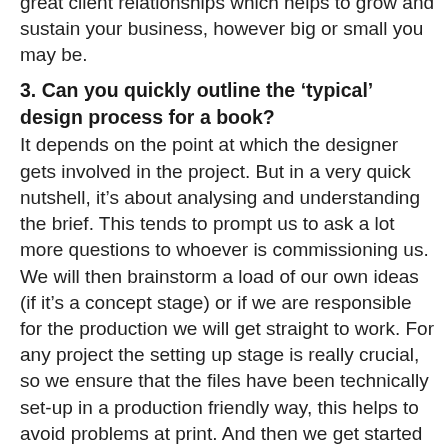great client relationships which helps to grow and sustain your business, however big or small you may be.
3. Can you quickly outline the 'typical' design process for a book?
It depends on the point at which the designer gets involved in the project. But in a very quick nutshell, it's about analysing and understanding the brief. This tends to prompt us to ask a lot more questions to whoever is commissioning us. We will then brainstorm a load of our own ideas (if it's a concept stage) or if we are responsible for the production we will get straight to work. For any project the setting up stage is really crucial, so we ensure that the files have been technically set-up in a production friendly way, this helps to avoid problems at print. And then we get started on the various passes. Depending